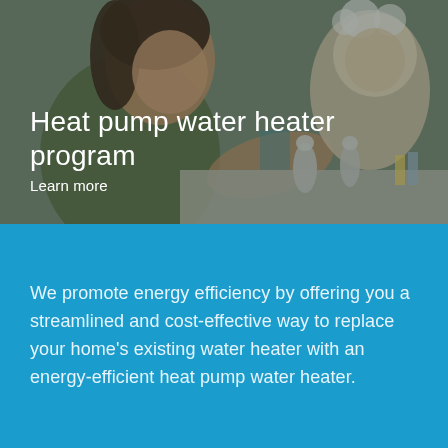[Figure (photo): A smiling woman and a toddler with a bubble-covered head playing at a bathroom sink. The image has a dark green-grey overlay tint.]
Heat pump water heater program
Learn more
We promote energy efficiency by offering you a streamlined and cost-effective way to replace your home's existing water heater with an energy-efficient heat pump water heater.